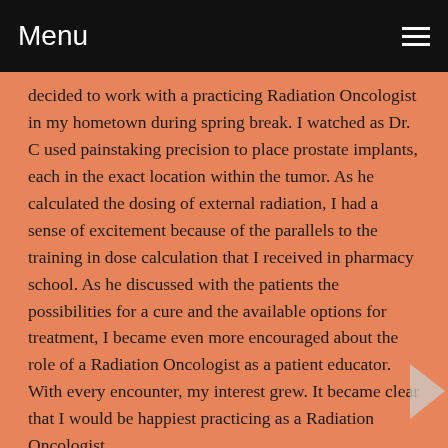Menu
decided to work with a practicing Radiation Oncologist in my hometown during spring break. I watched as Dr. C used painstaking precision to place prostate implants, each in the exact location within the tumor. As he calculated the dosing of external radiation, I had a sense of excitement because of the parallels to the training in dose calculation that I received in pharmacy school. As he discussed with the patients the possibilities for a cure and the available options for treatment, I became even more encouraged about the role of a Radiation Oncologist as a patient educator. With every encounter, my interest grew. It became clear that I would be happiest practicing as a Radiation Oncologist.
I am drawn to the treatment process in Radiation Oncology. Growing up, my family owned a small business that entailed undertaking a diverse order of projects. Each project required us